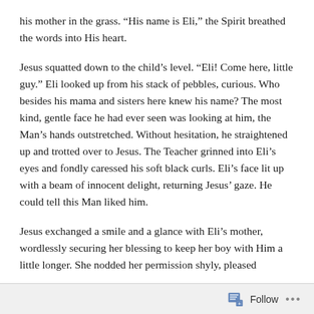his mother in the grass. “His name is Eli,” the Spirit breathed the words into His heart.
Jesus squatted down to the child’s level. “Eli! Come here, little guy.” Eli looked up from his stack of pebbles, curious. Who besides his mama and sisters here knew his name? The most kind, gentle face he had ever seen was looking at him, the Man’s hands outstretched. Without hesitation, he straightened up and trotted over to Jesus. The Teacher grinned into Eli’s eyes and fondly caressed his soft black curls. Eli’s face lit up with a beam of innocent delight, returning Jesus’ gaze. He could tell this Man liked him.
Jesus exchanged a smile and a glance with Eli’s mother, wordlessly securing her blessing to keep her boy with Him a little longer. She nodded her permission shyly, pleased
Follow •••